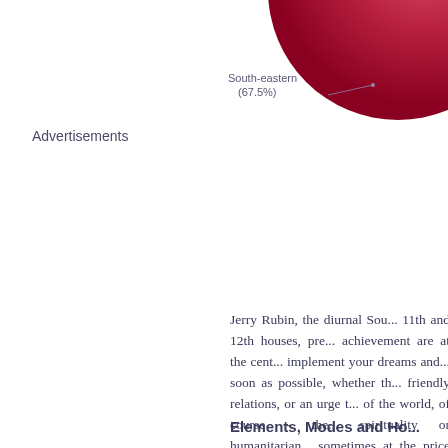[Figure (pie-chart): South-eastern (67.5%)]
Advertisements
Jerry Rubin, the diurnal Sou... 11th and 12th houses, pre... achievement are at the cent... implement your dreams and... soon as possible, whether th... friendly relations, or an urge t... of the world, of course - the... spirituality or humanitarian... sometimes at the price of som...
Elements, Modes and Ho...